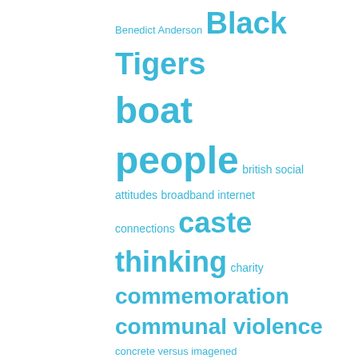[Figure (infographic): Tag cloud with words of varying sizes in blue/cyan color on white background. Larger words indicate higher frequency/importance. Words include: Benedict Anderson, Black Tigers, boat people, british social attitudes, broadband internet connections, caste thinking, charity, commemoration, communal violence, concrete versus imagened, cricket, crude reasoning, devolution, enchanted practice, ethnic identity, fake news, fetish for order, hegemony, hero worship, Hindu-Muslim conflict, hindu festival, Hinduism, history-writing, homage, human rights activists, human rights...]